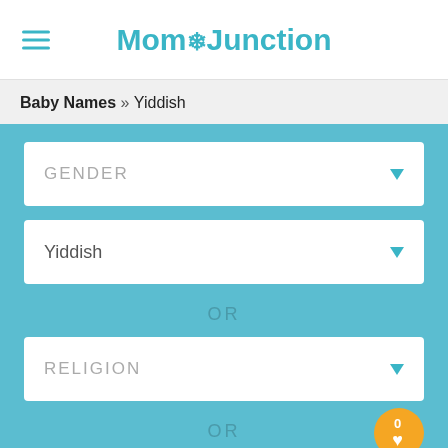MomJunction
Baby Names » Yiddish
[Figure (screenshot): Baby name search filter UI with dropdown fields for GENDER, Yiddish language, OR, RELIGION, OR, and MEANING on a teal background]
0